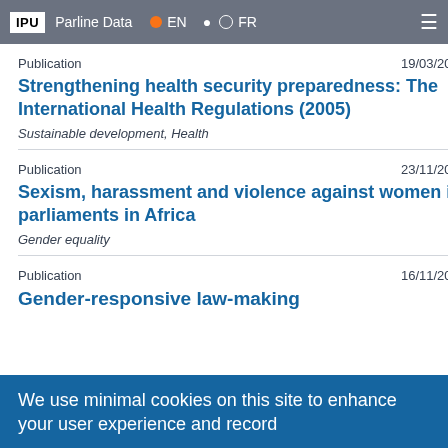IPU | Parline Data | EN | FR
Publication    19/03/2022
Strengthening health security preparedness: The International Health Regulations (2005)
Sustainable development, Health
Publication    23/11/2021
Sexism, harassment and violence against women in parliaments in Africa
Gender equality
Publication    16/11/2021
Gender-responsive law-making
We use minimal cookies on this site to enhance your user experience and record